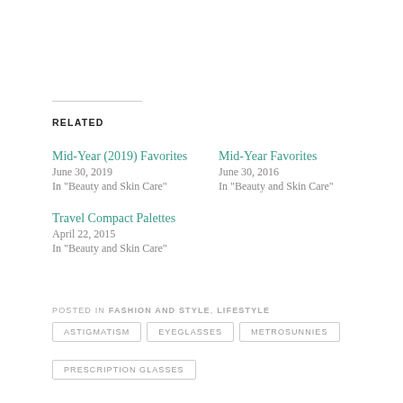RELATED
Mid-Year (2019) Favorites
June 30, 2019
In "Beauty and Skin Care"
Mid-Year Favorites
June 30, 2016
In "Beauty and Skin Care"
Travel Compact Palettes
April 22, 2015
In "Beauty and Skin Care"
POSTED IN FASHION AND STYLE, LIFESTYLE
ASTIGMATISM
EYEGLASSES
METROSUNNIES
PRESCRIPTION GLASSES